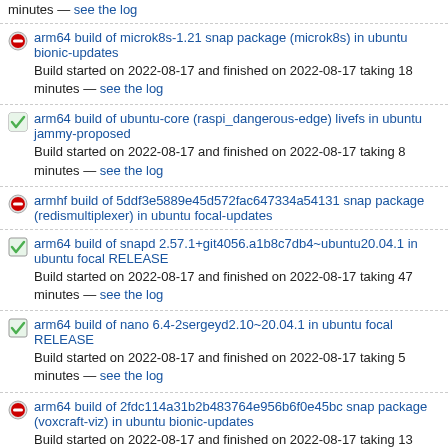minutes — see the log
arm64 build of microk8s-1.21 snap package (microk8s) in ubuntu bionic-updates
Build started on 2022-08-17 and finished on 2022-08-17 taking 18 minutes — see the log
arm64 build of ubuntu-core (raspi_dangerous-edge) livefs in ubuntu jammy-proposed
Build started on 2022-08-17 and finished on 2022-08-17 taking 8 minutes — see the log
armhf build of 5ddf3e5889e45d572fac647334a54131 snap package (redismultiplexer) in ubuntu focal-updates
arm64 build of snapd 2.57.1+git4056.a1b8c7db4~ubuntu20.04.1 in ubuntu focal RELEASE
Build started on 2022-08-17 and finished on 2022-08-17 taking 47 minutes — see the log
arm64 build of nano 6.4-2sergeyd2.10~20.04.1 in ubuntu focal RELEASE
Build started on 2022-08-17 and finished on 2022-08-17 taking 5 minutes — see the log
arm64 build of 2fdc114a31b2b483764e956b6f0e45bc snap package (voxcraft-viz) in ubuntu bionic-updates
Build started on 2022-08-17 and finished on 2022-08-17 taking 13 minutes — see the log